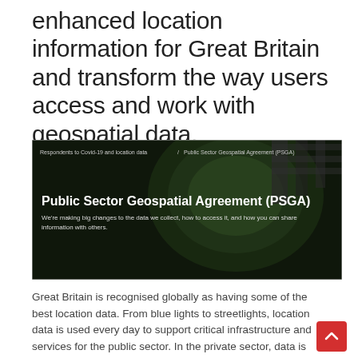enhanced location information for Great Britain and transform the way users access and work with geospatial data.
[Figure (screenshot): Screenshot of a webpage showing 'Public Sector Geospatial Agreement (PSGA)' with an aerial photo background of a roundabout with trees. The page has a dark overlay and white text reading: 'Public Sector Geospatial Agreement (PSGA)' and subtitle 'We're making big changes to the data we collect, how to access it, and how you can share information with others.' Breadcrumb navigation at top reads: 'Respondents to Covid-19 and location data / Public Sector Geospatial Agreement (PSGA)']
Great Britain is recognised globally as having some of the best location data. From blue lights to streetlights, location data is used every day to support critical infrastructure and services for the public sector. In the private sector, data is relied on by thousands of businesses to deliver insight, underpin decision making, enable products and services, and drive growth.